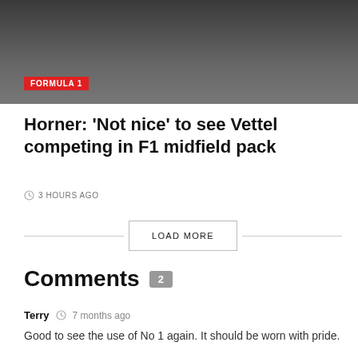[Figure (photo): Formula 1 race cars on track, dark background]
FORMULA 1
Horner: 'Not nice' to see Vettel competing in F1 midfield pack
3 HOURS AGO
LOAD MORE
Comments 2
Terry  7 months ago
Good to see the use of No 1 again. It should be worn with pride.
Reply